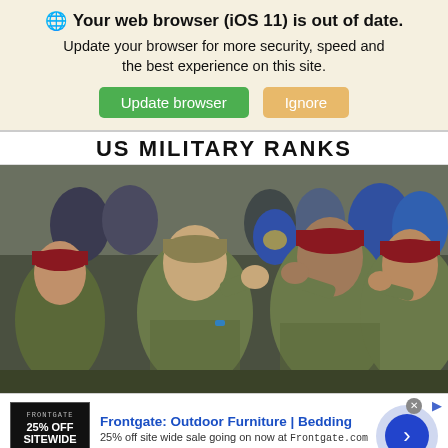🌐 Your web browser (iOS 11) is out of date. Update your browser for more security, speed and the best experience on this site.
Update browser | Ignore
US MILITARY RANKS
[Figure (photo): US military soldiers saluting, wearing camouflage uniforms and red/tan berets, in an outdoor ceremony]
Frontgate: Outdoor Furniture | Bedding
25% off site wide sale going on now at Frontgate.com
frontgate.com